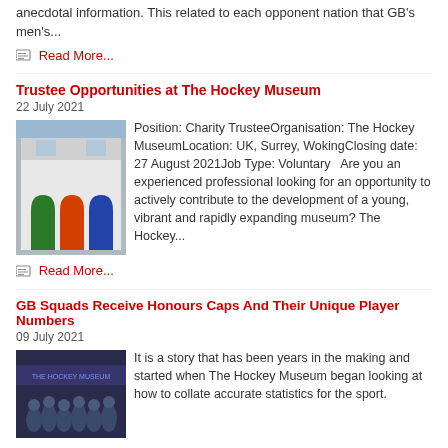anecdotal information. This related to each opponent nation that GB's men's...
Read More...
Trustee Opportunities at The Hockey Museum
22 July 2021
[Figure (photo): Exterior photo of The Hockey Museum building with colourful painted doors]
Position: Charity TrusteeOrganisation: The Hockey MuseumLocation: UK, Surrey, WokingClosing date: 27 August 2021Job Type: Voluntary   Are you an experienced professional looking for an opportunity to actively contribute to the development of a young, vibrant and rapidly expanding museum? The Hockey...
Read More...
GB Squads Receive Honours Caps And Their Unique Player Numbers
09 July 2021
[Figure (photo): Group photo of GB hockey squad members receiving honours caps]
It is a story that has been years in the making and started when The Hockey Museum began looking at how to collate accurate statistics for the sport.